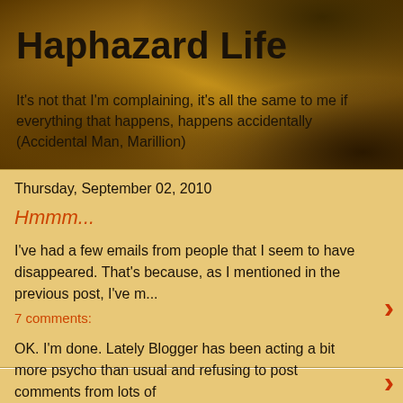Haphazard Life
It's not that I'm complaining, it's all the same to me if everything that happens, happens accidentally (Accidental Man, Marillion)
Thursday, September 02, 2010
Hmmm...
I've had a few emails from people that I seem to have disappeared. That's because, as I mentioned in the previous post, I've m...
7 comments:
Sunday, August 01, 2010
This is the end, my only friend, the end...
OK. I'm done. Lately Blogger has been acting a bit more psycho than usual and refusing to post comments from lots of